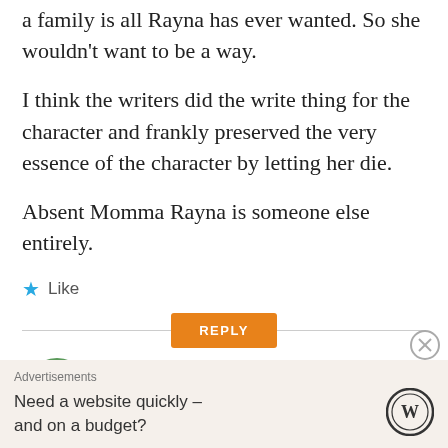a family is all Rayna has ever wanted. So she wouldn't want to be a way.
I think the writers did the write thing for the character and frankly preserved the very essence of the character by letting her die.
Absent Momma Rayna is someone else entirely.
★ Like
REPLY
[Figure (illustration): User avatar circle, partially visible at bottom of comment section]
Advertisements
Need a website quickly – and on a budget?